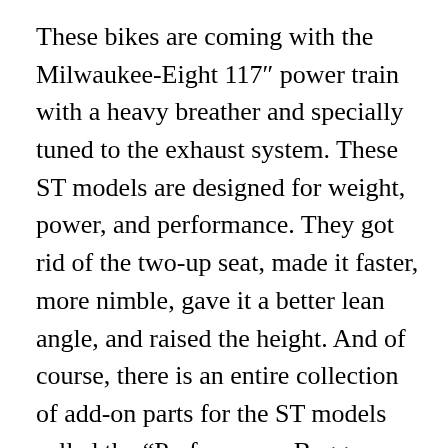These bikes are coming with the Milwaukee-Eight 117″ power train with a heavy breather and specially tuned to the exhaust system. These ST models are designed for weight, power, and performance. They got rid of the two-up seat, made it faster, more nimble, gave it a better lean angle, and raised the height. And of course, there is an entire collection of add-on parts for the ST models called the “Performance Bagger Trim Kit”.
The other big announcement was the release of the Low Rider ST, but they also kept the regular Low Rider S in the line-up.  The Low Rider S and ST have been bumped up to the